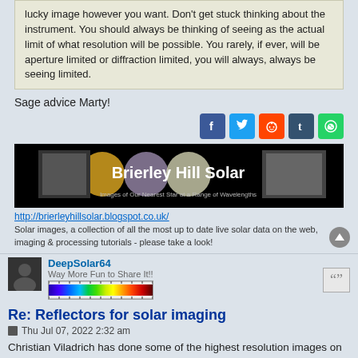lucky image however you want. Don't get stuck thinking about the instrument. You should always be thinking of seeing as the actual limit of what resolution will be possible. You rarely, if ever, will be aperture limited or diffraction limited, you will always, always be seeing limited.
Sage advice Marty!
[Figure (screenshot): Social share icons: Facebook, Twitter, Reddit, Tumblr, WhatsApp]
[Figure (screenshot): Brierley Hill Solar banner image with text 'Images of Our Nearest Star at a Range of Wavelengths']
http://brierleyhillsolar.blogspot.co.uk/
Solar images, a collection of all the most up to date live solar data on the web, imaging & processing tutorials - please take a look!
DeepSolar64
Way More Fun to Share It!!
[Figure (screenshot): Spectrum/rainbow color bar image used as avatar signature]
Re: Reflectors for solar imaging
Thu Jul 07, 2022 2:32 am
Christian Viladrich has done some of the highest resolution images on here with specialized solar reflectors.